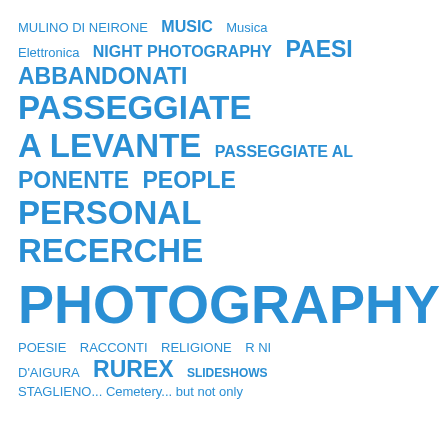MULINO DI NEIRONE  MUSIC  Musica Elettronica  NIGHT PHOTOGRAPHY  PAESI ABBANDONATI  PASSEGGIATE A LEVANTE  PASSEGGIATE AL PONENTE  PEOPLE  PERSONAL RECERCHE  PHOTOGRAPHY  POESIE  RACCONTI  RELIGIONE  R NI D'AIGURA  RUREX  SLIDESHOWS  STAGLIENO... Cemetery... but not only